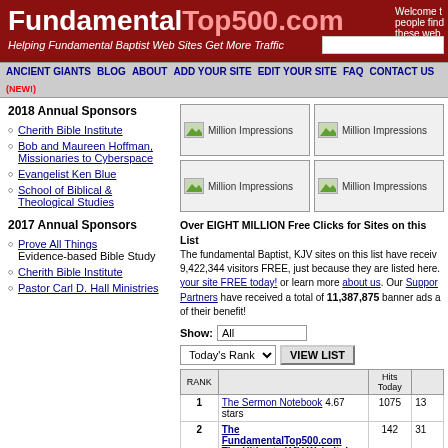FundamentalTop500.com - Helping Fundamental Baptist Web Sites Get More Traffic
ANCIENT GIANTS | BLOG | ABOUT | ADD YOUR SITE | EDIT YOUR SITE | FAQ | CONTACT US (NEW!)
2018 Annual Sponsors
Cherith Bible Institute
Bob and Maureen Hoffman, Missionaries to Cyberspace
Evangelist Ken Blue
School of Biblical & Theological Studies
2017 Annual Sponsors
Prove All Things - Evidence-based Bible Study
Cherith Bible Institute
Pastor Carl D. Hall Ministries
[Figure (other): Four Million Impressions banner ad placeholders in a 2x2 grid]
Over EIGHT MILLION Free Clicks for Sites on this List! The fundamental Baptist, KJV sites on this list have received 9,422,344 visitors FREE, just because they are listed here. Add your site FREE today! or learn more about us. Our Supporting Partners have received a total of 11,387,875 banner ads a of their benefit!
Show: All
Today's Rank  VIEW LIST
| RANK |  | Hits Today |  |
| --- | --- | --- | --- |
| 1 | The Sermon Notebook 4.67 stars | 1075 | 13 |
| 2 | The FundamentalTop500.com The Ultimate KJV Website! | 142 | 31 |